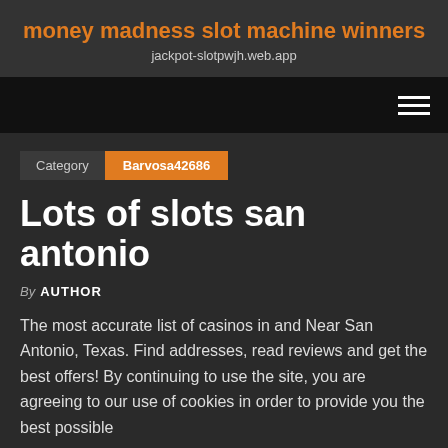money madness slot machine winners
jackpot-slotpwjh.web.app
Category  Barvosa42686
Lots of slots san antonio
By AUTHOR
The most accurate list of casinos in and Near San Antonio, Texas. Find addresses, read reviews and get the best offers! By continuing to use the site, you are agreeing to our use of cookies in order to provide you the best possible